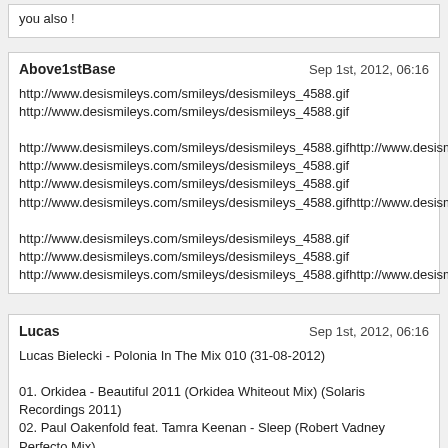you also !
Above1stBase
Sep 1st, 2012, 06:16
http://www.desismileys.com/smileys/desismileys_4588.gif
http://www.desismileys.com/smileys/desismileys_4588.gif
http://www.desismileys.com/smileys/desismileys_4588.gifhttp://www.desismileys.com/
http://www.desismileys.com/smileys/desismileys_4588.gif
http://www.desismileys.com/smileys/desismileys_4588.gif
http://www.desismileys.com/smileys/desismileys_4588.gifhttp://www.desismileys.com/
http://www.desismileys.com/smileys/desismileys_4588.gif
http://www.desismileys.com/smileys/desismileys_4588.gif
http://www.desismileys.com/smileys/desismileys_4588.gifhttp://www.desismileys.com/
Lucas
Sep 1st, 2012, 06:16
Lucas Bielecki - Polonia In The Mix 010 (31-08-2012)

01. Orkidea - Beautiful 2011 (Orkidea Whiteout Mix) (Solaris Recordings 2011)
02. Paul Oakenfold feat. Tamra Keenan - Sleep (Robert Vadney Perfecto Mix) (Perfecto Records 2011)
03. Ovnimoon - Shamanic Dance On Ayahuasca (2010 Mix) (Ovnimoon Records 2010)
04. Bart Claessen & Ran Nitzan present Who.Is - We.Are (Anjunabeats 2010)
05. Orkidea - Unity 2011 (Solarstone Pure Mix) (Solaris Recordings 2011)
06. Andy Moor & Adam White present Whiteroom - Whiteroom 2009 (Myon & Shane 54 Refill Mix) (Armada Digital 2009)
07. Ovnimoon - Love Is The Key (Ovnimoon Records 2011)
08. Mindwave - Guiding Voice (Iono Music 2012)
09. Solarstone feat. Clare Stagg - The Spell (Solarstone Pure Mix) (Black Hole Recordings 2011)
10. Liquid Soul - Hypnotic Energy (Plusquam Records 2011)